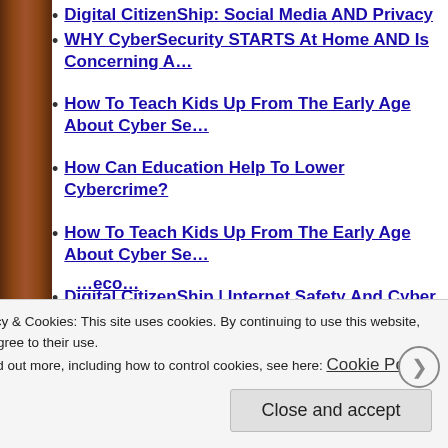Digital CitizenShip: Social Media AND Privacy
WHY CyberSecurity STARTS At Home AND Is Concerning A…
How To Teach Kids Up From The Early Age About Cyber Se…
How Can Education Help To Lower Cybercrime?
How To Teach Kids Up From The Early Age About Cyber Se…
Digital CitizenShip | Internet Safety And Cyber Security Adv…
We are living in a world of connected technology – Cyber-S…
Authors, bloggers Toolbox for writing and sharing
Not ONLY rights but also responsibility!?
Are WE Becoming Too Paranoid About Cyber-Security?
Privacy & Cookies: This site uses cookies. By continuing to use this website, you agree to their use. To find out more, including how to control cookies, see here: Cookie Policy
Close and accept